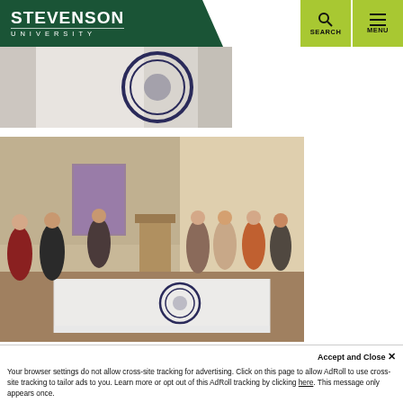Stevenson University — SEARCH | MENU navigation header
[Figure (photo): Partially cropped photo of a university ceremony or event, showing a circular seal/emblem in the background with a curtain]
[Figure (photo): Group photo of approximately 10-11 people standing in a room, with a draped table in the foreground bearing a circular university logo/seal. A podium is visible and artwork on the wall.]
Accept and Close ✕
Your browser settings do not allow cross-site tracking for advertising. Click on this page to allow AdRoll to use cross-site tracking to tailor ads to you. Learn more or opt out of this AdRoll tracking by clicking here. This message only appears once.